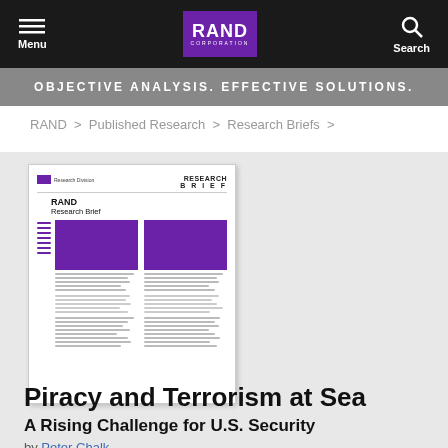Menu | RAND CORPORATION | Search
OBJECTIVE ANALYSIS. EFFECTIVE SOLUTIONS.
RAND > Published Research > Research Briefs >
[Figure (screenshot): Thumbnail of a RAND Research Brief document cover page showing two-column layout with purple header box]
Piracy and Terrorism at Sea
A Rising Challenge for U.S. Security
by Peter Chalk